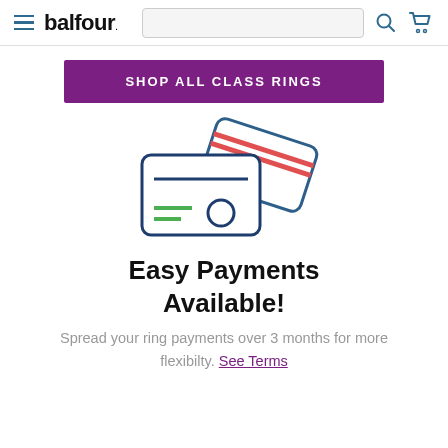balfour. [hamburger menu, search bar, search icon, cart icon]
SHOP ALL CLASS RINGS
[Figure (illustration): Two overlapping credit card icons drawn in outline style. The back card is tilted and has two red horizontal stripes near the top. The front card is upright with a blue horizontal line, a green circle and two short green lines on the face.]
Easy Payments Available!
Spread your ring payments over 3 months for more flexibilty. See Terms